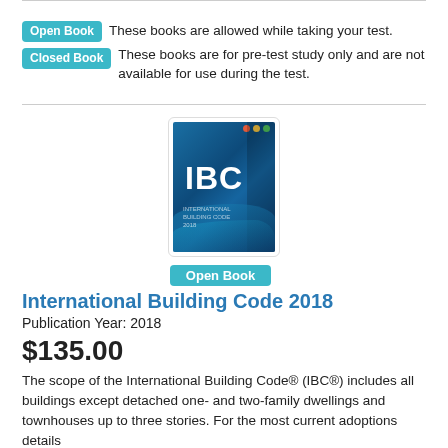Open Book: These books are allowed while taking your test.
Closed Book: These books are for pre-test study only and are not available for use during the test.
[Figure (illustration): Cover image of the International Building Code 2018 book, showing a blue cover with 'IBC' text in white and decorative wave graphics.]
Open Book
International Building Code 2018
Publication Year: 2018
$135.00
The scope of the International Building Code® (IBC®) includes all buildings except detached one- and two-family dwellings and townhouses up to three stories. For the most current adoptions details